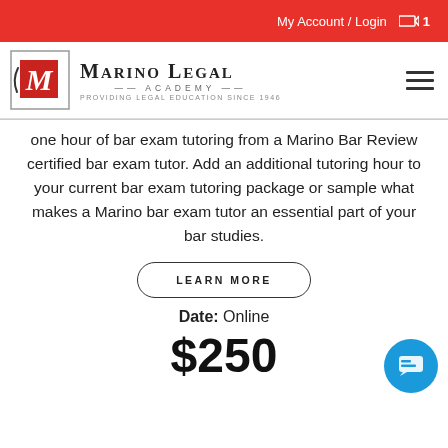My Account / Login  🛒 1
[Figure (logo): Marino Legal Academy logo with red M emblem and tagline 'Providing Legal Education Since 1946']
one hour of bar exam tutoring from a Marino Bar Review certified bar exam tutor. Add an additional tutoring hour to your current bar exam tutoring package or sample what makes a Marino bar exam tutor an essential part of your bar studies.
LEARN MORE
Date: Online
$250